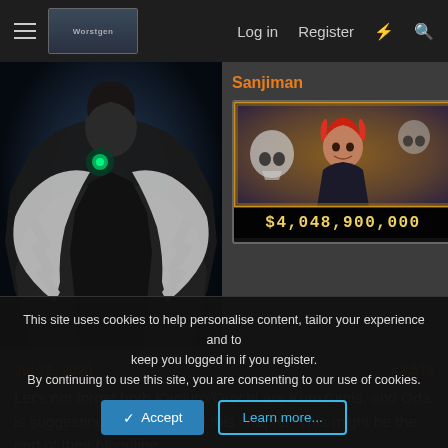Log in   Register
[Figure (screenshot): Dark anime character silhouette with white feathered cloak on blue-dark background]
[Figure (screenshot): Red-haired anime character (Shanks) with bounty card showing $4,048,900,000]
Jul 16, 2020    #3,518
Let's not forget both Kanjuro/Orochi are Kurozumis, and Oda is suggesting they both died this chapter. This might be the end of their bloodline.
This site uses cookies to help personalise content, tailor your experience and to keep you logged in if you register.
By continuing to use this site, you are consenting to our use of cookies.